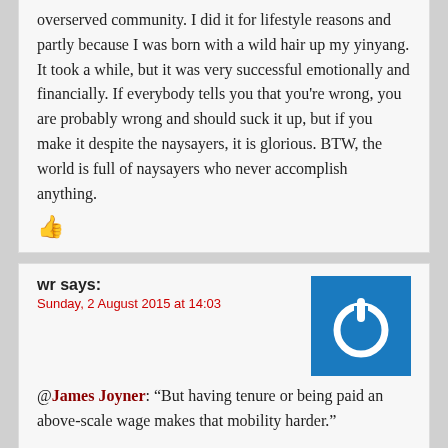overserved community. I did it for lifestyle reasons and partly because I was born with a wild hair up my yinyang. It took a while, but it was very successful emotionally and financially. If everybody tells you that you're wrong, you are probably wrong and should suck it up, but if you make it despite the naysayers, it is glorious. BTW, the world is full of naysayers who never accomplish anything.
wr says:
Sunday, 2 August 2015 at 14:03
@James Joyner: "But having tenure or being paid an above-scale wage makes that mobility harder."
Essentially it comes down to "these people shouldn't be well paid because that's going to make it harder for me to overcome my own greed." It's somewhere on the spectrum